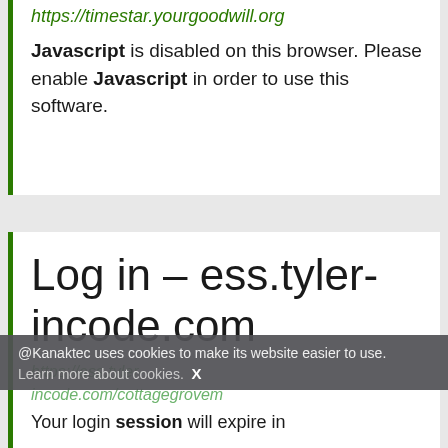https://timestar.yourgoodwill.org
Javascript is disabled on this browser. Please enable Javascript in order to use this software.
Log in – ess.tyler-incode.com
@Kanaktec uses cookies to make its website easier to use. Learn more about cookies. X
https://ess.tyler-incode.com/cottagegrovem
Your login session will expire in